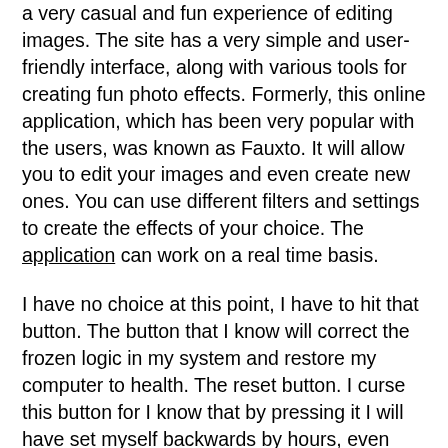a very casual and fun experience of editing images. The site has a very simple and user-friendly interface, along with various tools for creating fun photo effects. Formerly, this online application, which has been very popular with the users, was known as Fauxto. It will allow you to edit your images and even create new ones. You can use different filters and settings to create the effects of your choice. The application can work on a real time basis.
I have no choice at this point, I have to hit that button. The button that I know will correct the frozen logic in my system and restore my computer to health. The reset button. I curse this button for I know that by pressing it I will have set myself backwards by hours, even days. However I know that I have no choice. If I am to move forward I have to pull the trigger and restart my system. Curse this reset button! Nevertheless, I hold it down and in a few moments the system pops back to life ready to